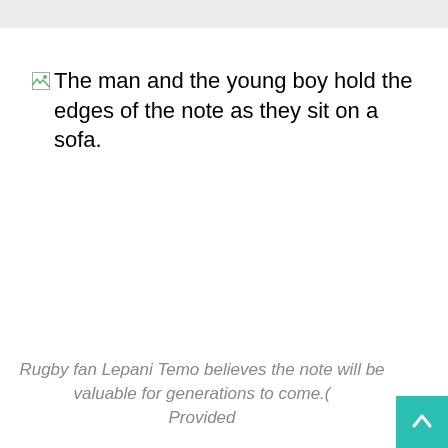[Figure (photo): Broken image placeholder with alt text: The man and the young boy hold the edges of the note as they sit on a sofa.]
Rugby fan Lepani Temo believes the note will be valuable for generations to come.( Provided